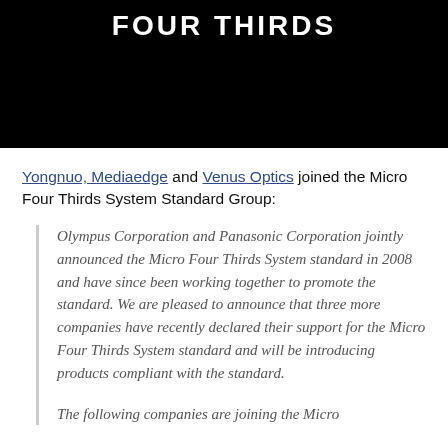[Figure (other): Black banner header with white bold uppercase text reading 'FOUR THIRDS']
Yongnuo, Mediaedge and Venus Optics joined the Micro Four Thirds System Standard Group:
Olympus Corporation and Panasonic Corporation jointly announced the Micro Four Thirds System standard in 2008 and have since been working together to promote the standard. We are pleased to announce that three more companies have recently declared their support for the Micro Four Thirds System standard and will be introducing products compliant with the standard.

The following companies are joining the Micro